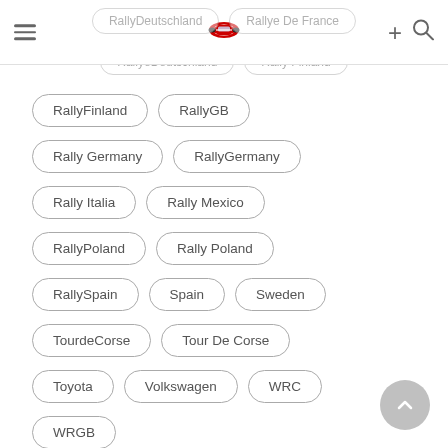[Figure (screenshot): Mobile app navigation bar with hamburger menu, rally car logo in center, plus and search icons on right]
RallyDeutschland
Rallye De France
RallyeDeutschland
Rally Finland (partial)
RallyFinland
RallyGB
Rally Germany
RallyGermany
Rally Italia
Rally Mexico
RallyPoland
Rally Poland
RallySpain
Spain
Sweden
TourdeCorse
Tour De Corse
Toyota
Volkswagen
WRC
WRGB